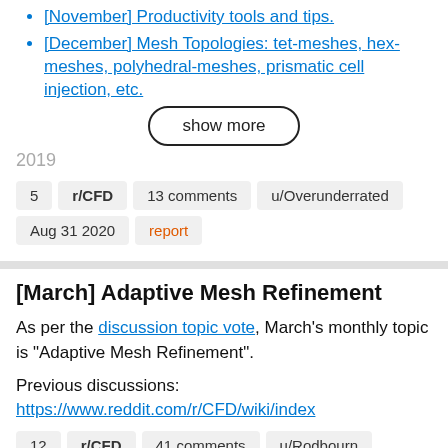[November] Productivity tools and tips.
[December] Mesh Topologies: tet-meshes, hex-meshes, polyhedral-meshes, prismatic cell injection, etc.
show more
2019
5   r/CFD   13 comments   u/Overunderrated
Aug 31 2020   report
[March] Adaptive Mesh Refinement
As per the discussion topic vote, March's monthly topic is "Adaptive Mesh Refinement".
Previous discussions:
https://www.reddit.com/r/CFD/wiki/index
12   r/CFD   41 comments   u/Rodbourn   Mar 03 2020